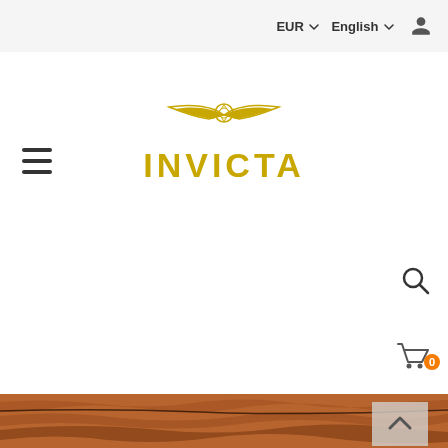EUR  English  [user icon]
[Figure (logo): Invicta watches logo in yellow/gold color with winged design and INVICTA text]
[Figure (other): Hamburger menu icon (three horizontal lines)]
[Figure (other): Search magnifying glass icon]
[Figure (other): Shopping cart icon with orange badge showing 0]
[Figure (photo): Stone/rock texture background image in brown/copper tones with a scroll-to-top arrow button overlay]